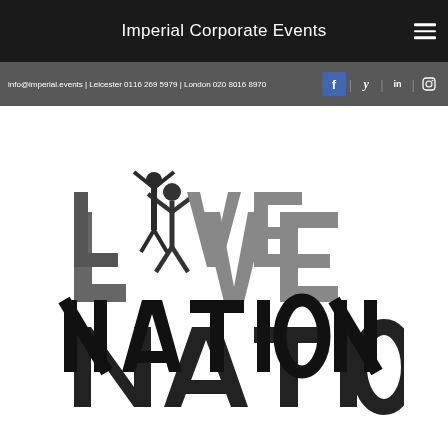Imperial Corporate Events
info@imperial.events | Leicester 0116 269 5979 | London 020 8016 8970
[Figure (logo): Live Nation logo — stylized text reading LIVE NATION in dark gray/black, with a person figure with arms raised replacing the 'I' in LIVE]